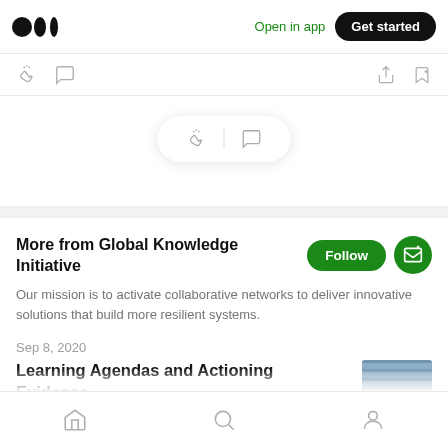Medium logo | Open in app | Get started
[Figure (screenshot): Icon bar with clap and comment icons on left, share and bookmark icons on right]
[Figure (screenshot): Pill-shaped toolbar with clap icon, divider, and comment icon]
More from Global Knowledge Initiative
Our mission is to activate collaborative networks to deliver innovative solutions that build more resilient systems.
Sep 8, 2020
Learning Agendas and Actioning Evidence
Home | Search | Profile